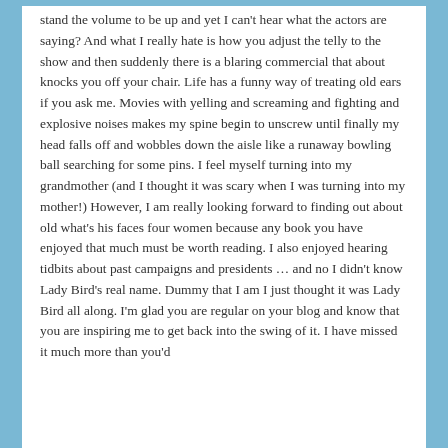stand the volume to be up and yet I can't hear what the actors are saying? And what I really hate is how you adjust the telly to the show and then suddenly there is a blaring commercial that about knocks you off your chair. Life has a funny way of treating old ears if you ask me. Movies with yelling and screaming and fighting and explosive noises makes my spine begin to unscrew until finally my head falls off and wobbles down the aisle like a runaway bowling ball searching for some pins. I feel myself turning into my grandmother (and I thought it was scary when I was turning into my mother!) However, I am really looking forward to finding out about old what's his faces four women because any book you have enjoyed that much must be worth reading. I also enjoyed hearing tidbits about past campaigns and presidents … and no I didn't know Lady Bird's real name. Dummy that I am I just thought it was Lady Bird all along. I'm glad you are regular on your blog and know that you are inspiring me to get back into the swing of it. I have missed it much more than you'd